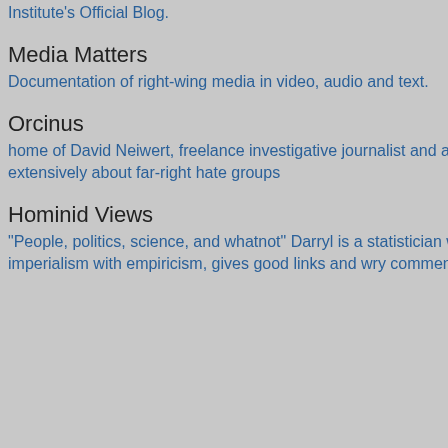Institute's Official Blog.
Media Matters
Documentation of right-wing media in video, audio and text.
Orcinus
home of David Neiwert, freelance investigative journalist and author who writes extensively about far-right hate groups
Hominid Views
"People, politics, science, and whatnot" Darryl is a statistician who fights imperialism with empiricism, gives good links and wry commentary.
[Figure (other): Thumbnail image of a green sunburst/sun design on dark background]
Not a game chan... likable and the bi... debating both Ba... covered for Barry... that she wrongly... Romney was cor... attack was not ca... nearly two weeks...
Candy Crowley w... Martha Radatz. S... to her partiality a... moderate a presi...
Posted by: KS blathers |
[Figure (other): Thumbnail image with blue geometric/network pattern]
T-S, you got noth... and you'll get not... "halting", angry p... this point it's Mitt'... scandal or a mAi...
Posted by: Coiler | Octob...